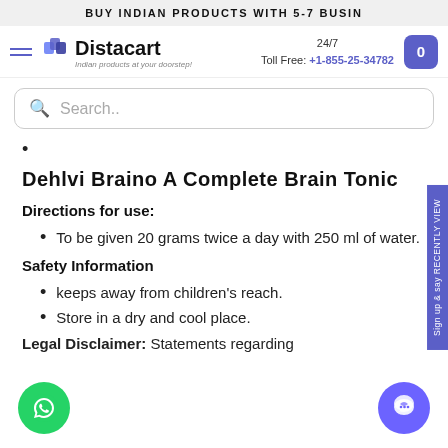BUY INDIAN PRODUCTS WITH 5-7 BUSIN
[Figure (logo): Distacart logo with text 'Indian products at your doorstep']
24/7 Toll Free: +1-855-25-34782
Search..
Dehlvi Braino A Complete Brain Tonic
Directions for use:
To be given 20 grams twice a day with 250 ml of water.
Safety Information
keeps away from children's reach.
Store in a dry and cool place.
Legal Disclaimer: Statements regarding